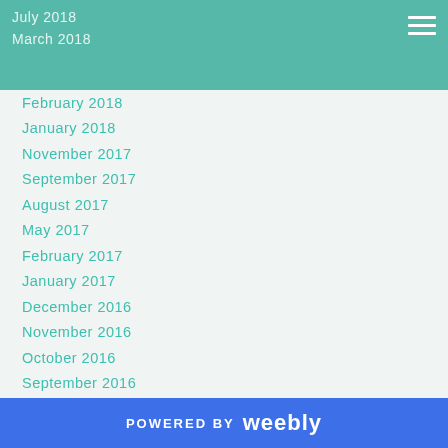July 2018
March 2018
February 2018
January 2018
November 2017
September 2017
August 2017
May 2017
February 2017
January 2017
December 2016
November 2016
October 2016
September 2016
August 2016
July 2016
June 2016
May 2016
April 2016
POWERED BY weebly